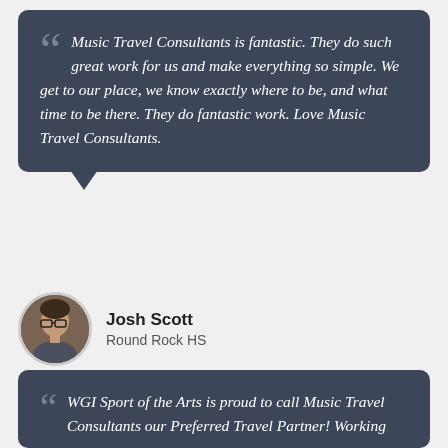Music Travel Consultants is fantastic. They do such great work for us and make everything so simple. We get to our place, we know exactly where to be, and what time to be there. They do fantastic work. Love Music Travel Consultants.
Josh Scott
Round Rock HS
WGI Sport of the Arts is proud to call Music Travel Consultants our Preferred Travel Partner! Working